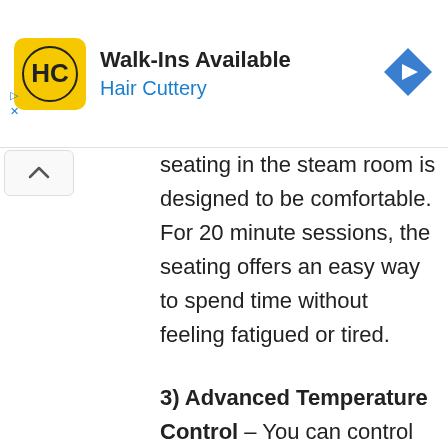[Figure (logo): Hair Cuttery advertisement banner with yellow HC logo, title 'Walk-Ins Available', subtitle 'Hair Cuttery', and blue diamond navigation icon]
seating in the steam room is designed to be comfortable. For 20 minute sessions, the seating offers an easy way to spend time without feeling fatigued or tired.
3) Advanced Temperature Control
– You can control the temperature and steam in the steam room as per your comfort